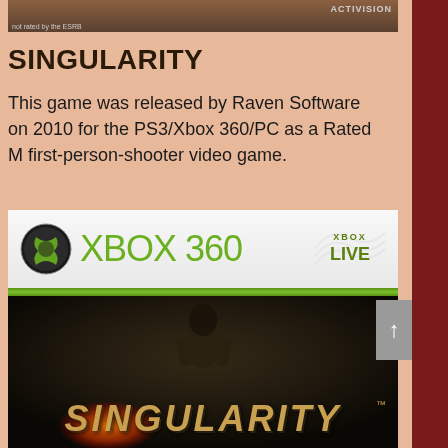[Figure (screenshot): Top portion of a game box/screenshot with dark brown tones, ESRB notice and Activision logo visible]
SINGULARITY
This game was released by Raven Software on 2010 for the PS3/Xbox 360/PC as a Rated M first-person-shooter video game.
[Figure (photo): Xbox 360 game cover for Singularity showing Xbox 360 logo with Xbox Live badge on white header, green stripe, and dark cover art with armored character holding weapon and SINGULARITY title text in gold]